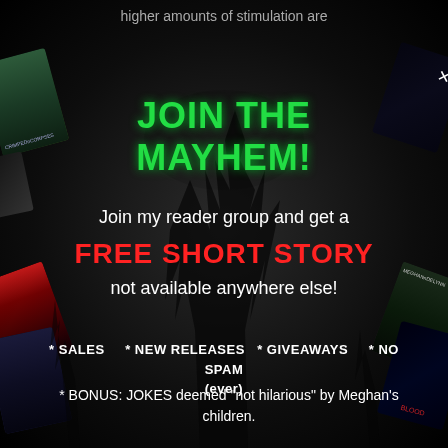higher amounts of stimulation are
JOIN THE MAYHEM!
Join my reader group and get a
FREE SHORT STORY
not available anywhere else!
* SALES    * NEW RELEASES  * GIVEAWAYS    * NO SPAM (ever)
* BONUS: JOKES deemed "not hilarious" by Meghan's children.
[Figure (illustration): Multiple horror novel book covers arranged decoratively around the edges of the image on a dark background with tree silhouettes]